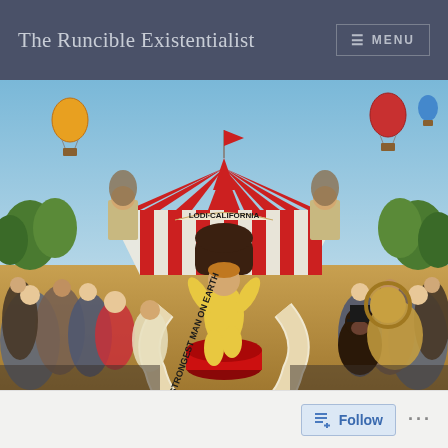The Runcible Existentialist
[Figure (illustration): Circus-themed wine label illustration showing a strongman in yellow leotard on a platform lifting a barbell, surrounded by circus performers and crowd. Banners read 'Strongest Man on Earth' and 'Cabernet Sauvignon', 'Lodi California', '2003', 'Alc. 14.5%'. Red and white striped circus tent in background with hot air balloons.]
[Figure (screenshot): WordPress-style Follow button and three-dot menu at bottom of page]